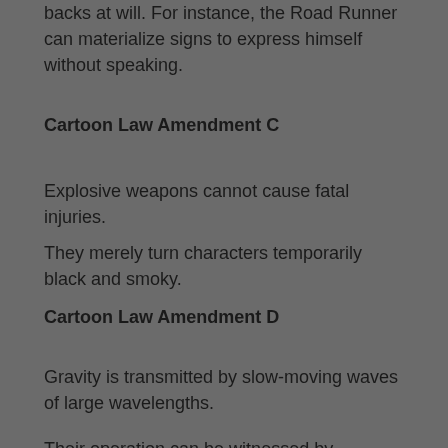backs at will. For instance, the Road Runner can materialize signs to express himself without speaking.
Cartoon Law Amendment C
Explosive weapons cannot cause fatal injuries.
They merely turn characters temporarily black and smoky.
Cartoon Law Amendment D
Gravity is transmitted by slow-moving waves of large wavelengths.
Their operation can be witnessed by observing the behavior of a canine suspended over a large vertical drop. Its feet will begin to fall first, causing its legs to stretch. As the wave reaches its torso, that part will begin to fall, causing the neck to stretch. As the head begins to fall,